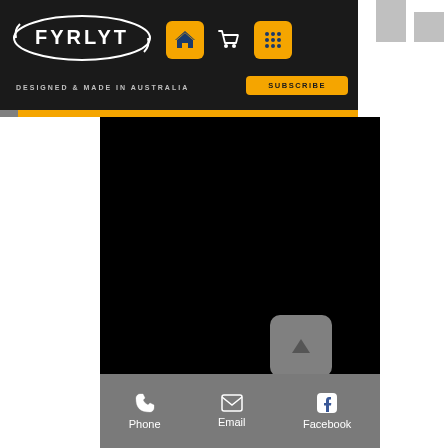[Figure (logo): FYRLYT logo with oval swoosh design, white text on dark background]
DESIGNED & MADE IN AUSTRALIA
SUBSCRIBE
[Figure (screenshot): Large black content area - main page content area, mostly black]
[Figure (illustration): Scroll to top button with upward triangle arrow]
Phone | Email | Facebook